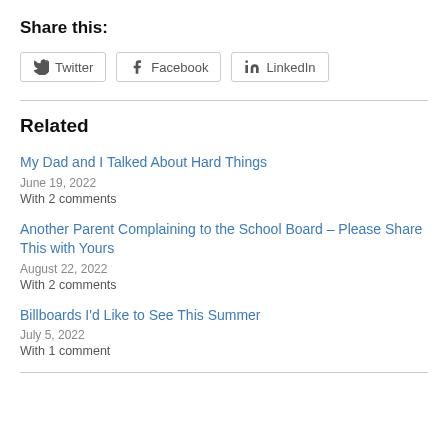Share this:
Twitter | Facebook | LinkedIn
Related
My Dad and I Talked About Hard Things
June 19, 2022
With 2 comments
Another Parent Complaining to the School Board – Please Share This with Yours
August 22, 2022
With 2 comments
Billboards I'd Like to See This Summer
July 5, 2022
With 1 comment